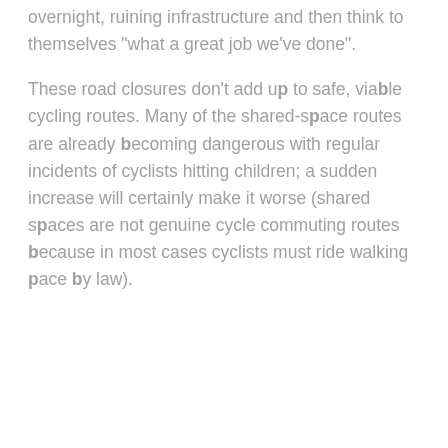overnight, ruining infrastructure and then think to themselves "what a great job we've done".
These road closures don't add up to safe, viable cycling routes. Many of the shared-space routes are already becoming dangerous with regular incidents of cyclists hitting children; a sudden increase will certainly make it worse (shared spaces are not genuine cycle commuting routes because in most cases cyclists must ride walking pace by law).